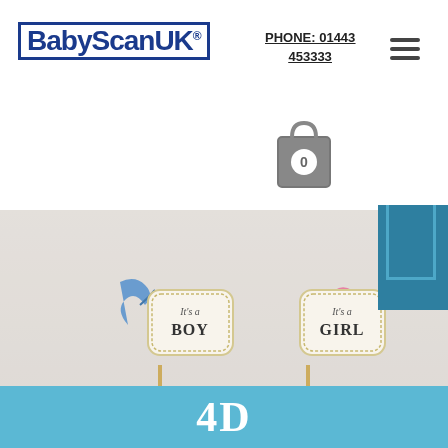BabyScanUK® | PHONE: 01443 453333
[Figure (photo): Two cupcakes, one in a blue wrapper with 'It's a BOY' topper and blue ribbon, one in a pink wrapper with 'It's a GIRL' topper and pink ribbon — gender reveal themed photo]
4D